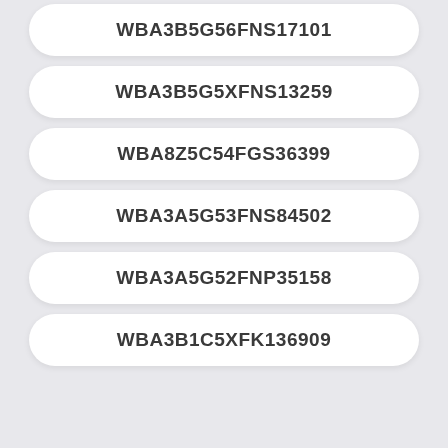WBA3B5G56FNS17101
WBA3B5G5XFNS13259
WBA8Z5C54FGS36399
WBA3A5G53FNS84502
WBA3A5G52FNP35158
WBA3B1C5XFK136909